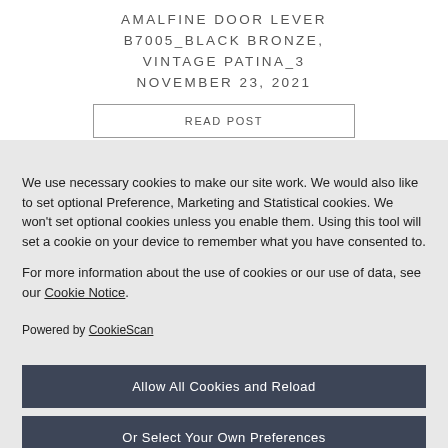AMALFINE DOOR LEVER B7005_BLACK BRONZE, VINTAGE PATINA_3
NOVEMBER 23, 2021
READ POST
We use necessary cookies to make our site work. We would also like to set optional Preference, Marketing and Statistical cookies. We won't set optional cookies unless you enable them. Using this tool will set a cookie on your device to remember what you have consented to.
For more information about the use of cookies or our use of data, see our Cookie Notice.
Powered by CookieScan
Allow All Cookies and Reload
Or Select Your Own Preferences